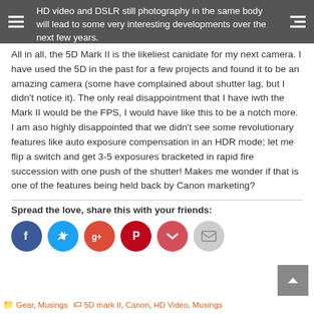HD video and DSLR still photography in the same body will lead to some very interesting developments over the next few years.
All in all, the 5D Mark II is the likeliest canidate for my next camera. I have used the 5D in the past for a few projects and found it to be an amazing camera (some have complained about shutter lag, but I didn't notice it). The only real disappointment that I have iwth the Mark II would be the FPS, I would have like this to be a notch more. I am aso highly disappointed that we didn't see some revolutionary features like auto exposure compensation in an HDR mode; let me flip a switch and get 3-5 exposures bracketed in rapid fire succession with one push of the shutter! Makes me wonder if that is one of the features being held back by Canon marketing?
Spread the love, share this with your friends:
[Figure (infographic): Social share buttons: Facebook (dark blue circle), Twitter (light blue circle), Google+ (red-orange circle), Pinterest (dark red circle), Pocket (pink-red circle), Email (gray circle)]
Gear, Musings | 5D mark II, Canon, HD Video, Musings